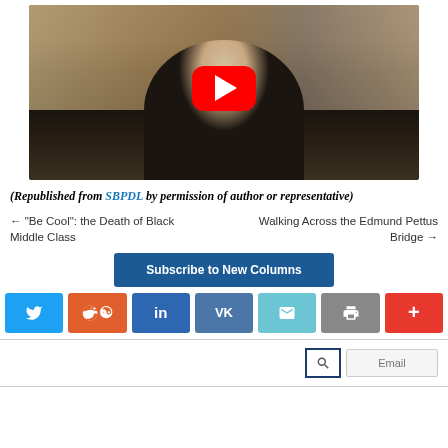[Figure (screenshot): YouTube video thumbnail showing a man in a tuxedo at what appears to be a formal event, with a red YouTube play button overlay in the center]
(Republished from SBPDL by permission of author or representative)
← "Be Cool": the Death of Black Middle Class
Walking Across the Edmund Pettus Bridge →
Subscribe to New Columns
[Figure (infographic): Row of social sharing buttons: Twitter (blue), Reddit (orange), LinkedIn (blue), VK (dark blue), Email (cyan), Print (gray), Plus (red)]
[Figure (screenshot): Search box with magnifying glass icon and Email input field]